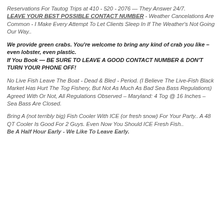Reservations For Tautog Trips at 410 - 520 - 2076 — They Answer 24/7. LEAVE YOUR BEST POSSIBLE CONTACT NUMBER - Weather Cancelations Are Common - I Make Every Attempt To Let Clients Sleep In If The Weather's Not Going Our Way..
We provide green crabs. You're welcome to bring any kind of crab you like – even lobster, even plastic. If You Book — BE SURE TO LEAVE A GOOD CONTACT NUMBER & DON'T TURN YOUR PHONE OFF!
No Live Fish Leave The Boat - Dead & Bled - Period. (I Believe The Live-Fish Black Market Has Hurt The Tog Fishery, But Not As Much As Bad Sea Bass Regulations) Agreed With Or Not, All Regulations Observed – Maryland: 4 Tog @ 16 Inches – Sea Bass Are Closed.
Bring A (not terribly big) Fish Cooler With ICE (or fresh snow) For Your Party.. A 48 QT Cooler Is Good For 2 Guys. Even Now You Should ICE Fresh Fish.. Be A Half Hour Early - We Like To Leave Early.